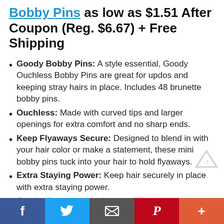Bobby Pins as low as $1.51 After Coupon (Reg. $6.67) + Free Shipping
Goody Bobby Pins: A style essential, Goody Ouchless Bobby Pins are great for updos and keeping stray hairs in place. Includes 48 brunette bobby pins.
Ouchless: Made with curved tips and larger openings for extra comfort and no sharp ends.
Keep Flyaways Secure: Designed to blend in with your hair color or make a statement, these mini bobby pins tuck into your hair to hold flyaways.
Extra Staying Power: Keep hair securely in place with extra staying power.
Goody: Goody knows that one little accessory can change everything.
f  Twitter  Email  P  +